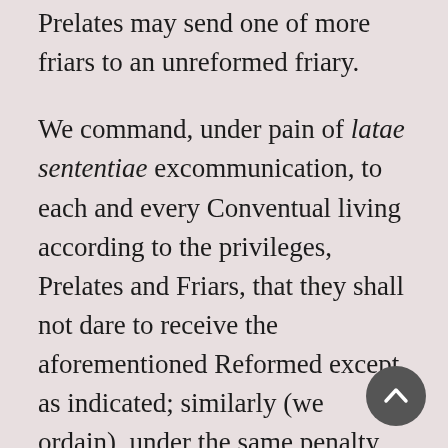Prelates may send one of more friars to an unreformed friary.
We command, under pain of latae sententiae excommunication, to each and every Conventual living according to the privileges, Prelates and Friars, that they shall not dare to receive the aforementioned Reformed except as indicated; similarly (we ordain), under the same penalty, that the Reformed Friars shall not depart in any way from the obedience of their Ministers.
And so that no new institutions [sectae] are introduced in that Order, with the risk of causing new fights, we firmly impose and command that for the future, no new institution [secta] or reform shall be introduced in the said Order; or carried out without the express consent of the Minister General, or the Reformed Provincials in their